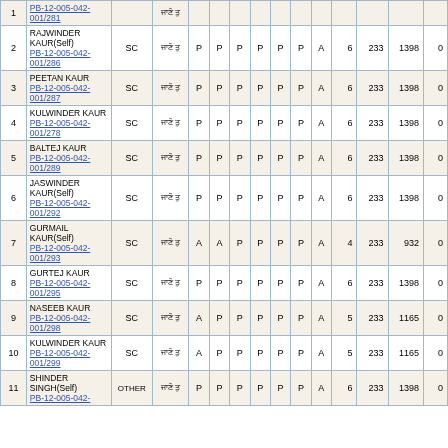| # | Name/ID | Category | Info | M1 | M2 | M3 | M4 | M5 | M6 | M7 | Count | Val1 | Val2 | Val3 |
| --- | --- | --- | --- | --- | --- | --- | --- | --- | --- | --- | --- | --- | --- | --- |
| 2 | RAJWINDER KAUR(Self) PB-12-005-042-001/286 | SC | ਜਾਣੋ ਤੁ | P | P | P | P | P | P | A | 6 | 233 | 1398 | 0 |
| 3 | PEETAN KAUR PB-12-005-042-001/287 | SC | ਜਾਣੋ ਤੁ | P | P | P | P | P | P | A | 6 | 233 | 1398 | 0 |
| 4 | KULWINDER KAUR PB-12-005-042-001/278 | SC | ਜਾਣੋ ਤੁ | P | P | P | P | P | P | A | 6 | 233 | 1398 | 0 |
| 5 | BALTEJ KAUR PB-12-005-042-001/289 | SC | ਜਾਣੋ ਤੁ | P | P | P | P | P | P | A | 6 | 233 | 1398 | 0 |
| 6 | JASWINDER KAUR(Self) PB-12-005-042-001/292 | SC | ਜਾਣੋ ਤੁ | P | P | P | P | P | P | A | 6 | 233 | 1398 | 0 |
| 7 | GURMAIL KAUR(Self) PB-12-005-042-001/293 | SC | ਜਾਣੋ ਤੁ | A | A | P | P | P | P | A | 4 | 233 | 932 | 0 |
| 8 | GURTEJ KAUR PB-12-005-042-001/295 | SC | ਜਾਣੋ ਤੁ | P | P | P | P | P | P | A | 6 | 233 | 1398 | 0 |
| 9 | NASEEB KAUR PB-12-005-042-001/298 | SC | ਜਾਣੋ ਤੁ | A | P | P | P | P | P | A | 5 | 233 | 1165 | 0 |
| 10 | KULWINDER KAUR PB-12-005-042-001/299 | SC | ਜਾਣੋ ਤੁ | A | P | P | P | P | P | A | 5 | 233 | 1165 | 0 |
| 11 | SHINDER SINGH(Self) PB-12-005-042- | OTHER | ਜਾਣੋ ਤੁ | P | P | P | P | P | P | A | 6 | 233 | 1398 | 0 |